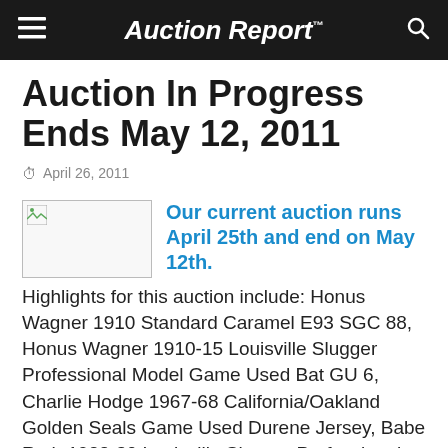Auction Report™
Auction In Progress Ends May 12, 2011
April 26, 2011
[Figure (photo): Broken/placeholder image thumbnail]
Our current auction runs April 25th and end on May 12th. Highlights for this auction include: Honus Wagner 1910 Standard Caramel E93 SGC 88, Honus Wagner 1910-15 Louisville Slugger Professional Model Game Used Bat GU 6, Charlie Hodge 1967-68 California/Oakland Golden Seals Game Used Durene Jersey, Babe Ruth 1922-30 Louisville Slugger Professional Model Game Used Bat A 5, Minnesota Twins 1991 World Championship Ring w/Real 10k Gold & Diamonds, Tony Oliva 1969 Game Used Flannel Jersey